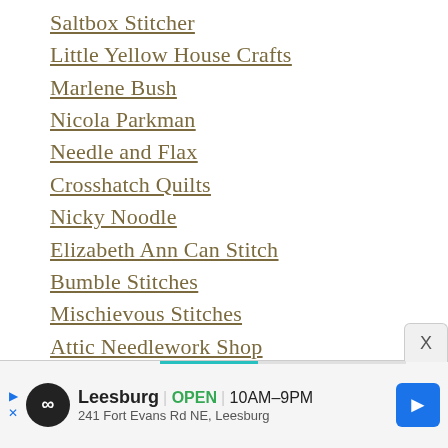Saltbox Stitcher
Little Yellow House Crafts
Marlene Bush
Nicola Parkman
Needle and Flax
Crosshatch Quilts
Nicky Noodle
Elizabeth Ann Can Stitch
Bumble Stitches
Mischievous Stitches
Attic Needlework Shop
Mama Loves You GB
[Figure (other): Advertisement banner for Leesburg store showing logo, open status (OPEN 10AM-9PM), address (241 Fort Evans Rd NE, Leesburg), and navigation button. Includes a close button and progress bar.]